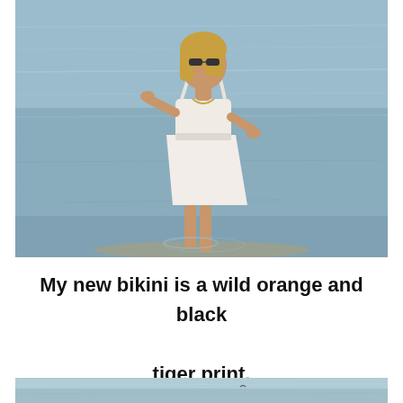[Figure (photo): A woman in a white dress standing in shallow water at the beach or sea shore. She has blonde hair and sunglasses, posing with one hand on her hip and the other raised to her head. The water is calm and reflective.]
My new bikini is a wild orange and black tiger print.
[Figure (photo): Partial view of a body of water, appears to be a sea or lake with a calm surface and a small object visible in the distance.]